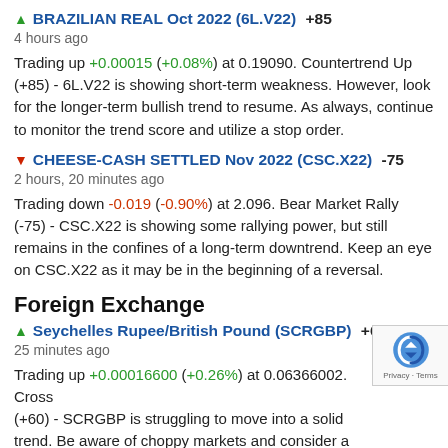▲ BRAZILIAN REAL Oct 2022 (6L.V22) +85
4 hours ago
Trading up +0.00015 (+0.08%) at 0.19090. Countertrend Up (+85) - 6L.V22 is showing short-term weakness. However, look for the longer-term bullish trend to resume. As always, continue to monitor the trend score and utilize a stop order.
▼ CHEESE-CASH SETTLED Nov 2022 (CSC.X22) -75
2 hours, 20 minutes ago
Trading down -0.019 (-0.90%) at 2.096. Bear Market Rally (-75) - CSC.X22 is showing some rallying power, but still remains in the confines of a long-term downtrend. Keep an eye on CSC.X22 as it may be in the beginning of a reversal.
Foreign Exchange
▲ Seychelles Rupee/British Pound (SCRGBP) +60
25 minutes ago
Trading up +0.00016600 (+0.26%) at 0.06366002. Cross (+60) - SCRGBP is struggling to move into a solid trend. Be aware of choppy markets and consider a sidelines position until a stronger trend is identified.